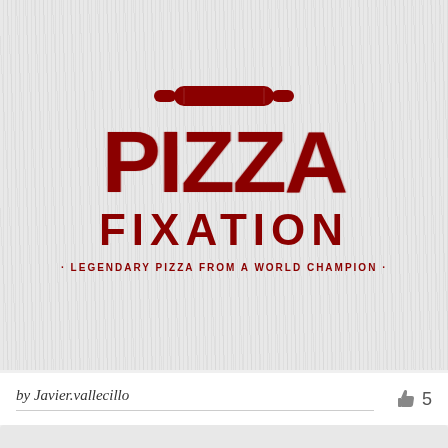[Figure (logo): Pizza Fixation logo on a textured white/light grey wood-grain background. Features a rolling pin icon above large bold red distressed text reading PIZZA, then FIXATION beneath it, and a tagline · LEGENDARY PIZZA FROM A WORLD CHAMPION ·]
by Javier.vallecillo
5